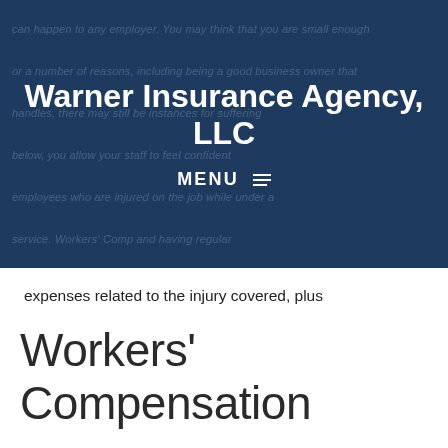Warner Insurance Agency, LLC
MENU
expenses related to the injury covered, plus reimbursement for a portion of their lost wages.
Workers' Compensation